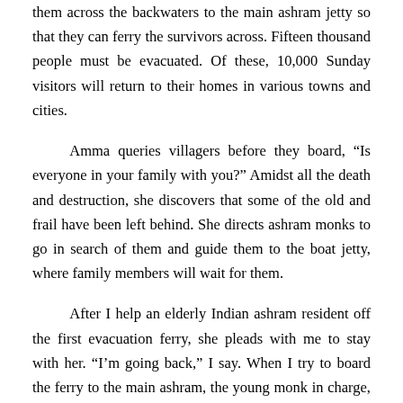them across the backwaters to the main ashram jetty so that they can ferry the survivors across. Fifteen thousand people must be evacuated. Of these, 10,000 Sunday visitors will return to their homes in various towns and cities.
Amma queries villagers before they board, “Is everyone in your family with you?” Amidst all the death and destruction, she discovers that some of the old and frail have been left behind. She directs ashram monks to go in search of them and guide them to the boat jetty, where family members will wait for them.
After I help an elderly Indian ashram resident off the first evacuation ferry, she pleads with me to stay with her. “I’m going back,” I say. When I try to board the ferry to the main ashram, the young monk in charge, riding the bow as if over a stormy sea, says, “No.” He is frowning, forehead beading with sweat. “Amma wants everyone to go to the engineering school.”
Reluctantly Eiko and I join the parade of the disheveled as we wander